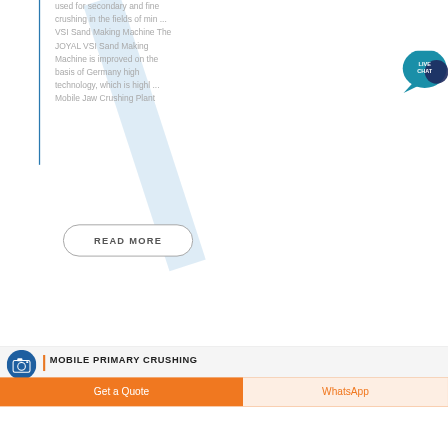used for secondary and fine crushing in the fields of min ... VSI Sand Making Machine The JOYAL VSI Sand Making Machine is improved on the basis of Germany high technology, which is highl ... Mobile Jaw Crushing Plant
[Figure (other): READ MORE button with rounded border]
[Figure (other): LIVE CHAT speech bubble icon in teal]
[Figure (other): Blue circle with camera icon on the left side]
MOBILE PRIMARY CRUSHING
[Figure (other): Get a Quote orange button and WhatsApp peach button at the bottom]